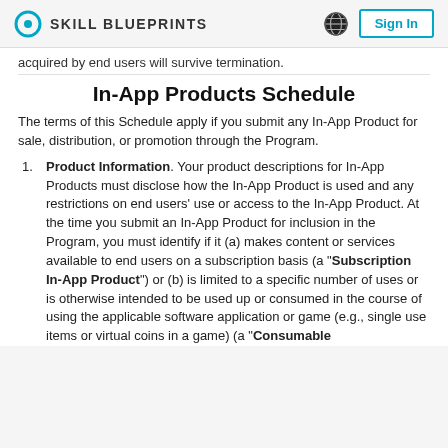SKILL BLUEPRINTS | Sign In
acquired by end users will survive termination.
In-App Products Schedule
The terms of this Schedule apply if you submit any In-App Product for sale, distribution, or promotion through the Program.
Product Information. Your product descriptions for In-App Products must disclose how the In-App Product is used and any restrictions on end users' use or access to the In-App Product. At the time you submit an In-App Product for inclusion in the Program, you must identify if it (a) makes content or services available to end users on a subscription basis (a "Subscription In-App Product") or (b) is limited to a specific number of uses or is otherwise intended to be used up or consumed in the course of using the applicable software application or game (e.g., single use items or virtual coins in a game) (a "Consumable